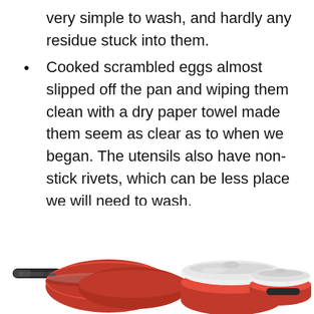very simple to wash, and hardly any residue stuck into them.
Cooked scrambled eggs almost slipped off the pan and wiping them clean with a dry paper towel made them seem as clear as to when we began. The utensils also have non-stick rivets, which can be less place we will need to wash.
12. Neoflam Midas PLUS 9pc Nonstick Ceramic Cookware Set
[Figure (photo): Photo of red Neoflam Midas PLUS 9pc Nonstick Ceramic Cookware Set showing pans and bowls with white lids and dark handles]